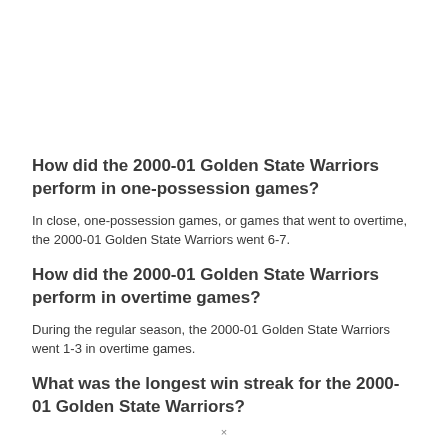How did the 2000-01 Golden State Warriors perform in one-possession games?
In close, one-possession games, or games that went to overtime, the 2000-01 Golden State Warriors went 6-7.
How did the 2000-01 Golden State Warriors perform in overtime games?
During the regular season, the 2000-01 Golden State Warriors went 1-3 in overtime games.
What was the longest win streak for the 2000-01 Golden State Warriors?